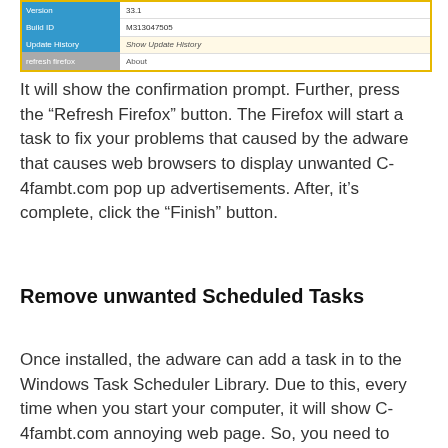[Figure (screenshot): Screenshot of a Firefox browser information panel showing rows with blue labels and values including Build ID (M31307505) and Update History (Show Update History) and a highlighted row.]
It will show the confirmation prompt. Further, press the “Refresh Firefox” button. The Firefox will start a task to fix your problems that caused by the adware that causes web browsers to display unwanted C-4fambt.com pop up advertisements. After, it’s complete, click the “Finish” button.
Remove unwanted Scheduled Tasks
Once installed, the adware can add a task in to the Windows Task Scheduler Library. Due to this, every time when you start your computer, it will show C-4fambt.com annoying web page. So, you need to check the Task Scheduler Library and remove all harmful tasks which have been created by malicious program.